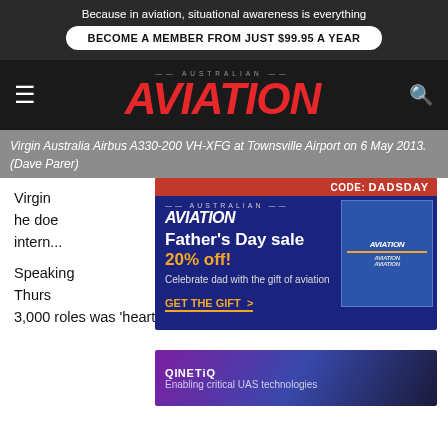Because in aviation, situational awareness is everything
BECOME A MEMBER FROM JUST $99.95 A YEAR
AUSTRALIAN AVIATION
Virgin Australia Airbus A330-200 VH-XFG at Townsville Airport on 6 May 2013. (Dave Parer)
[Figure (screenshot): Australian Aviation Father's Day sale advertisement overlay: 20% off promotion with code DADSDAY]
[Figure (screenshot): QinetiQ advertisement: Enabling critical UAS technologies]
Virgin Australia... has said he does... y international...
Speaking... Thursday... out 3,000 roles was 'heartbreaking'...